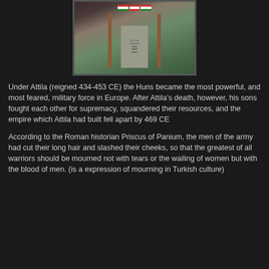[Figure (photo): A monument or memorial stone with flags displayed above it, surrounded by wooden poles, set against green shrubbery in the background.]
Under Attila (reigned 434-453 CE) the Huns became the most powerful, and most feared, military force in Europe. After Attila's death, however, his sons fought each other for supremacy, squandered their resources, and the empire which Attila had built fell apart by 469 CE
According to the Roman historian Priscus of Panium, the men of the army had cut their long hair and slashed their cheeks, so that the greatest of all warriors should be mourned not with tears or the wailing of women but with the blood of men. (is a expression of mourning in Turkish culture)